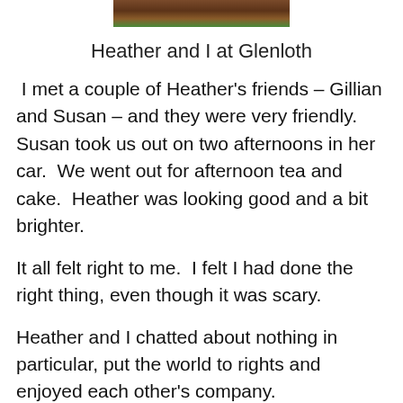[Figure (photo): Partial photo of Heather and the author at Glenloth, cropped at top showing lower portion of image with brown and green tones.]
Heather and I at Glenloth
I met a couple of Heather's friends – Gillian and Susan – and they were very friendly.  Susan took us out on two afternoons in her car.  We went out for afternoon tea and cake.  Heather was looking good and a bit brighter.
It all felt right to me.  I felt I had done the right thing, even though it was scary.
Heather and I chatted about nothing in particular, put the world to rights and enjoyed each other's company.
On the Friday we set off for Melbourne again for Heather's appointment at the hospital for her next chemotherapy session.  We arrived in plenty of time and waited for the doctors to see her.  Then it was time for the chemo.  Geoff